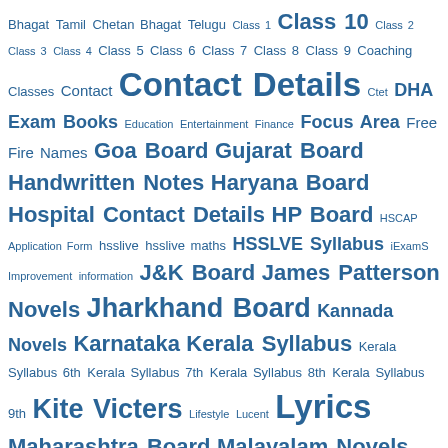[Figure (infographic): Tag cloud of educational topics and board names in varying font sizes, all in blue color on white background. Larger text indicates more popular/important tags. Topics include various Indian state boards, novel authors, educational resources like NCERT, ML Aggarwal solutions, Plus One chapters, and more.]